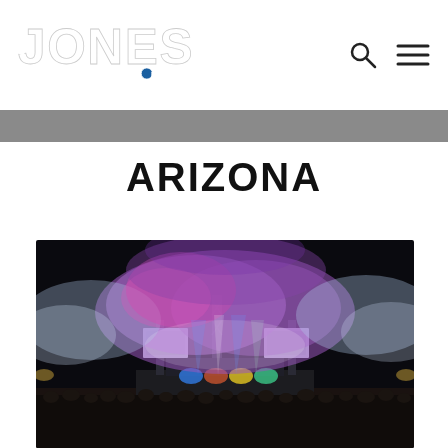Jones Around the World
ARIZONA
[Figure (photo): Outdoor music festival concert stage at night with large purple, blue and pink smoke/light effects billowing above a massive crowd, two large screens visible on stage truss]